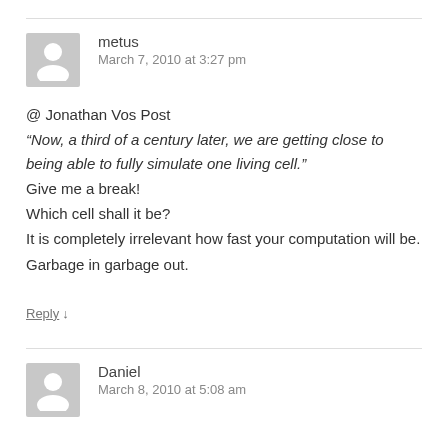metus
March 7, 2010 at 3:27 pm
@ Jonathan Vos Post
“Now, a third of a century later, we are getting close to being able to fully simulate one living cell.”
Give me a break!
Which cell shall it be?
It is completely irrelevant how fast your computation will be.
Garbage in garbage out.
Reply ↓
Daniel
March 8, 2010 at 5:08 am